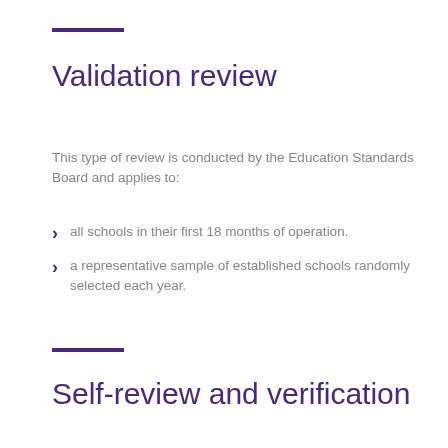Validation review
This type of review is conducted by the Education Standards Board and applies to:
all schools in their first 18 months of operation.
a representative sample of established schools randomly selected each year.
Self-review and verification